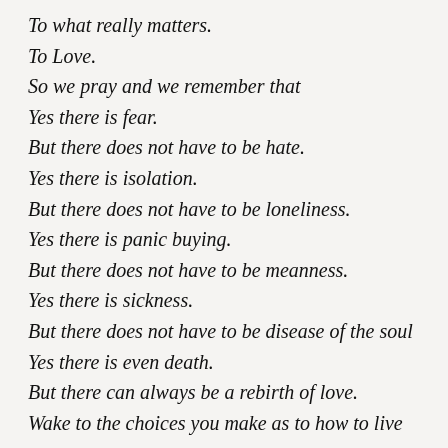To what really matters.
To Love.
So we pray and we remember that
Yes there is fear.
But there does not have to be hate.
Yes there is isolation.
But there does not have to be loneliness.
Yes there is panic buying.
But there does not have to be meanness.
Yes there is sickness.
But there does not have to be disease of the soul
Yes there is even death.
But there can always be a rebirth of love.
Wake to the choices you make as to how to live now.
Today, breathe.
Listen, behind the factory noises of your panic